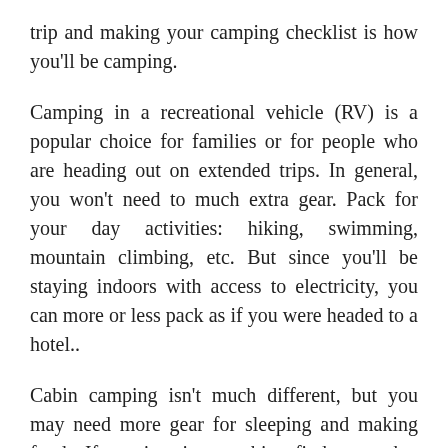trip and making your camping checklist is how you'll be camping.
Camping in a recreational vehicle (RV) is a popular choice for families or for people who are heading out on extended trips. In general, you won't need to much extra gear. Pack for your day activities: hiking, swimming, mountain climbing, etc. But since you'll be staying indoors with access to electricity, you can more or less pack as if you were headed to a hotel..
Cabin camping isn't much different, but you may need more gear for sleeping and making food. If staying in a cabin, find out what amenities are offered there. You may find yourself packing for a hotel, or packing the same way you would to stay in a tent, depending on what's available.
The lists we're going to suggest are mostly for tent